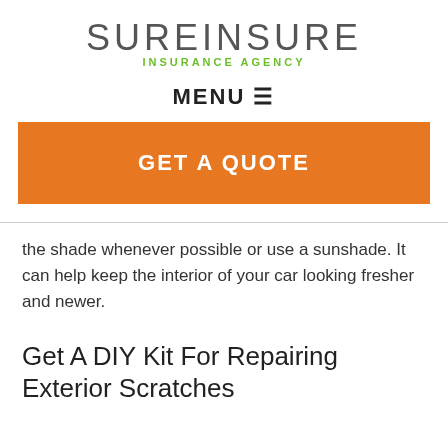SUREINSURE INSURANCE AGENCY
MENU ☰
[Figure (other): Orange call-to-action button reading GET A QUOTE]
the shade whenever possible or use a sunshade. It can help keep the interior of your car looking fresher and newer.
Get A DIY Kit For Repairing Exterior Scratches